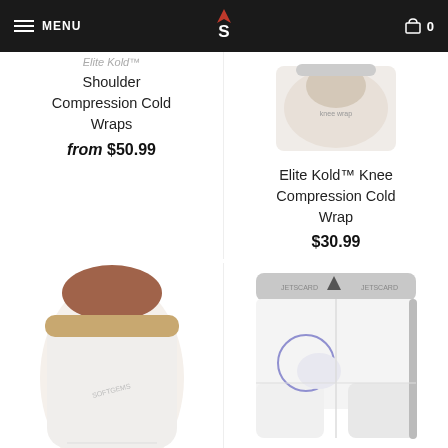MENU | VS logo | 0
Elite Kold™ Shoulder Compression Cold Wraps
from $50.99
[Figure (photo): Photo of Elite Kold Knee Compression Cold Wrap product]
Elite Kold™ Knee Compression Cold Wrap
$30.99
[Figure (photo): Photo of Women's compression shorts product]
Women's
[Figure (photo): Photo of LadyElite Sliding Short with Pelvic Protector]
LadyElite Sliding Short with Pelvic Protector
$30.99